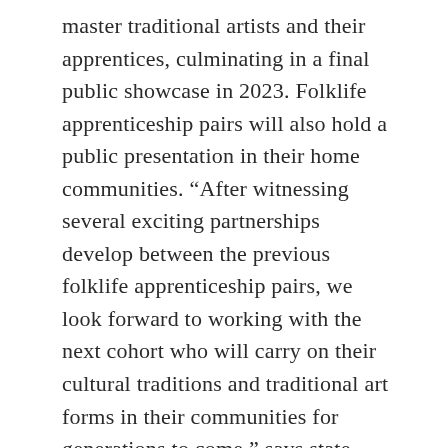master traditional artists and their apprentices, culminating in a final public showcase in 2023. Folklife apprenticeship pairs will also hold a public presentation in their home communities. “After witnessing several exciting partnerships develop between the previous folklife apprenticeship pairs, we look forward to working with the next cohort who will carry on their cultural traditions and traditional art forms in their communities for generations to come,” says state folklorist Jennie Williams.
This year marks the third round of the biennial program. The 2020-2021 Folklife Apprenticeship Program awarded seven